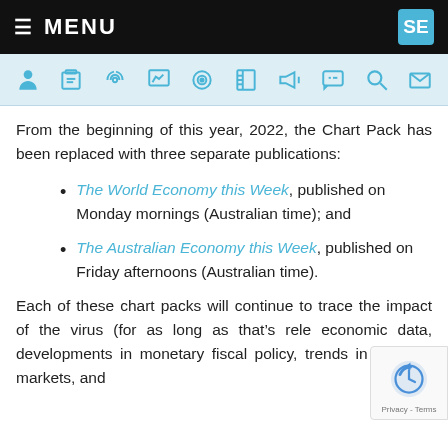≡ MENU  SE
[Figure (infographic): Icon toolbar with 10 icons: person, clipboard, broadcast, chart, target, book, megaphone, speech bubble, search, envelope — all in teal/blue color on light blue background]
From the beginning of this year, 2022, the Chart Pack has been replaced with three separate publications:
The World Economy this Week, published on Monday mornings (Australian time); and
The Australian Economy this Week, published on Friday afternoons (Australian time).
Each of these chart packs will continue to trace the impact of the virus (for as long as that's rele... economic data, developments in monetary... fiscal policy, trends in financial markets, and